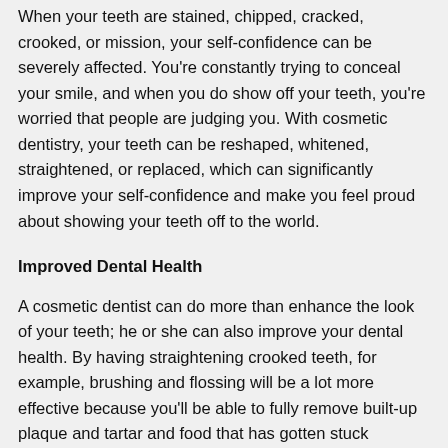When your teeth are stained, chipped, cracked, crooked, or mission, your self-confidence can be severely affected. You're constantly trying to conceal your smile, and when you do show off your teeth, you're worried that people are judging you. With cosmetic dentistry, your teeth can be reshaped, whitened, straightened, or replaced, which can significantly improve your self-confidence and make you feel proud about showing your teeth off to the world.
Improved Dental Health
A cosmetic dentist can do more than enhance the look of your teeth; he or she can also improve your dental health. By having straightening crooked teeth, for example, brushing and flossing will be a lot more effective because you'll be able to fully remove built-up plaque and tartar and food that has gotten stuck between your teeth, thereby reducing the risk of decay. Considering the fact that your dental health impacts your overall health, cosmetic dentistry can improve your physical and mental health, too.